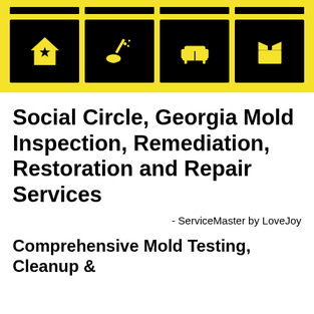[Figure (infographic): Yellow banner with four black icon boxes showing a house with star, broom/cleaning, sofa/couch, and open box icons]
Social Circle, Georgia Mold Inspection, Remediation, Restoration and Repair Services
- ServiceMaster by LoveJoy
Comprehensive Mold Testing, Cleanup &